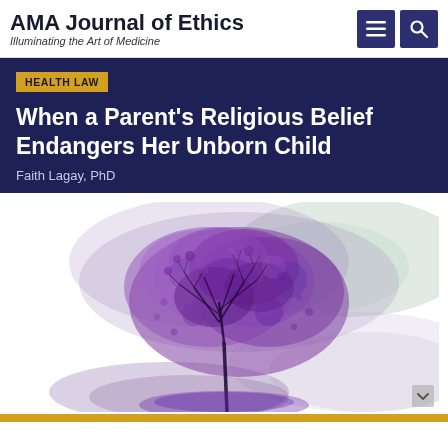AMA Journal of Ethics
Illuminating the Art of Medicine
HEALTH LAW
When a Parent's Religious Belief Endangers Her Unborn Child
Faith Lagay, PhD
[Figure (illustration): Watercolor painting of a purple flowering tree against a soft purple and green washed background, with the tree's reflection visible below.]